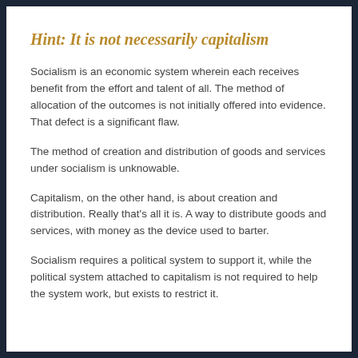Hint: It is not necessarily capitalism
Socialism is an economic system wherein each receives benefit from the effort and talent of all. The method of allocation of the outcomes is not initially offered into evidence. That defect is a significant flaw.
The method of creation and distribution of goods and services under socialism is unknowable.
Capitalism, on the other hand, is about creation and distribution. Really that's all it is. A way to distribute goods and services, with money as the device used to barter.
Socialism requires a political system to support it, while the political system attached to capitalism is not required to help the system work, but exists to restrict it.